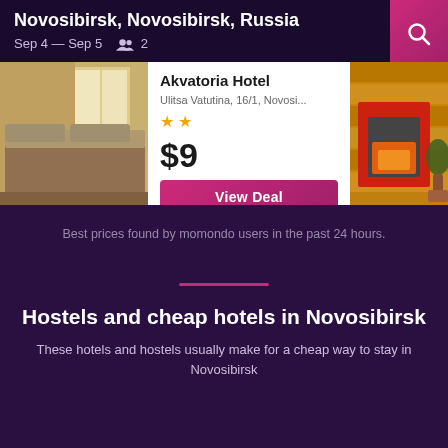Novosibirsk, Novosibirsk, Russia Sep 4 — Sep 5  2
[Figure (screenshot): Hotel card carousel showing bedroom photo on left, Akvatoria Hotel info card in center, and fireplace/wood cabin photo on right]
Best prices found by momondo users in the past 24 hours.
Hostels and cheap hotels in Novosibirsk
These hotels and hostels usually make for a cheap way to stay in Novosibirsk